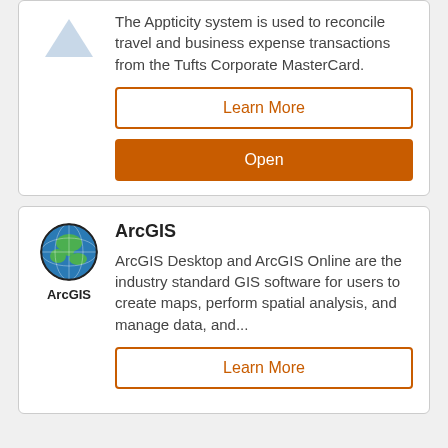The Appticity system is used to reconcile travel and business expense transactions from the Tufts Corporate MasterCard.
Learn More
Open
ArcGIS
ArcGIS Desktop and ArcGIS Online are the industry standard GIS software for users to create maps, perform spatial analysis, and manage data, and...
Learn More